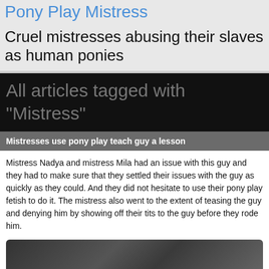Pony Play Mistress
Cruel mistresses abusing their slaves as human ponies
All articles tagged with "Mistress"
Mistresses use pony play teach guy a lesson
Mistress Nadya and mistress Mila had an issue with this guy and they had to make sure that they settled their issues with the guy as quickly as they could. And they did not hesitate to use their pony play fetish to do it. The mistress also went to the extent of teasing the guy and denying him by showing off their tits to the guy before they rode him.
[Figure (photo): Partially visible photograph at bottom of page]